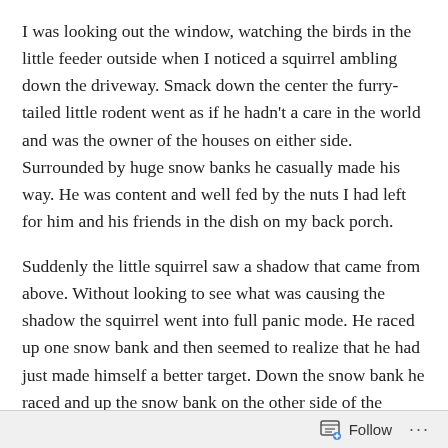I was looking out the window, watching the birds in the little feeder outside when I noticed a squirrel ambling down the driveway. Smack down the center the furry-tailed little rodent went as if he hadn't a care in the world and was the owner of the houses on either side. Surrounded by huge snow banks he casually made his way. He was content and well fed by the nuts I had left for him and his friends in the dish on my back porch.
Suddenly the little squirrel saw a shadow that came from above. Without looking to see what was causing the shadow the squirrel went into full panic mode. He raced up one snow bank and then seemed to realize that he had just made himself a better target. Down the snow bank he raced and up the snow bank on the other side of the
Follow ···